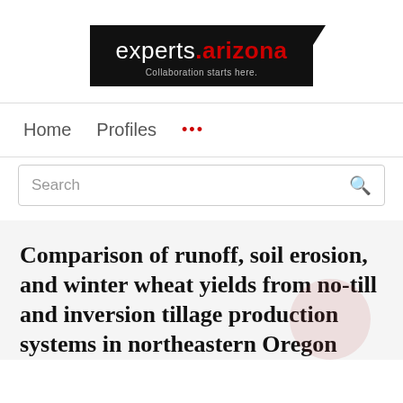[Figure (logo): experts.arizona — Collaboration starts here. logo on black background]
Home  Profiles  ...
Search
Comparison of runoff, soil erosion, and winter wheat yields from no-till and inversion tillage production systems in northeastern Oregon